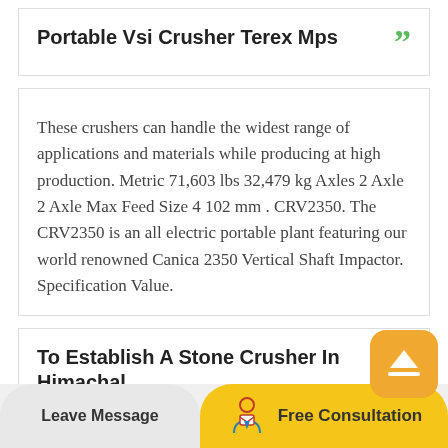Portable Vsi Crusher Terex Mps
These crushers can handle the widest range of applications and materials while producing at high production. Metric 71,603 lbs 32,479 kg Axles 2 Axle 2 Axle Max Feed Size 4 102 mm . CRV2350. The CRV2350 is an all electric portable plant featuring our world renowned Canica 2350 Vertical Shaft Impactor. Specification Value.
To Establish A Stone Crusher In Himachal
Leave Message   Free Consultation